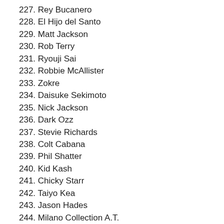227. Rey Bucanero
228. El Hijo del Santo
229. Matt Jackson
230. Rob Terry
231. Ryouji Sai
232. Robbie McAllister
233. Zokre
234. Daisuke Sekimoto
235. Nick Jackson
236. Dark Ozz
237. Stevie Richards
238. Colt Cabana
239. Phil Shatter
240. Kid Kash
241. Chicky Starr
242. Taiyo Kea
243. Jason Hades
244. Milano Collection A.T.
245. B.J.
246. Ricky Reyes
247. Mike Quackenbush
248. Pepper Parks